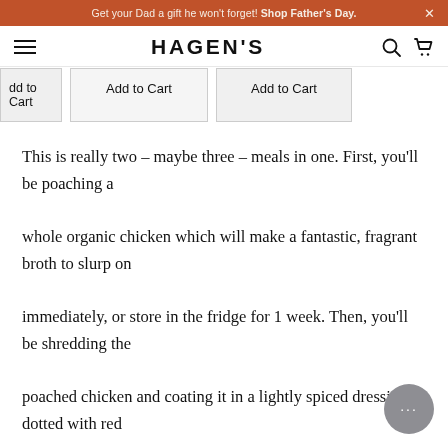Get your Dad a gift he won't forget! Shop Father's Day. ×
[Figure (screenshot): Hagen's website navigation bar with hamburger menu, HAGEN'S logo, search icon, and cart icon]
dd to Cart   Add to Cart   Add to Cart
This is really two – maybe three – meals in one. First, you'll be poaching a whole organic chicken which will make a fantastic, fragrant broth to slurp on immediately, or store in the fridge for 1 week. Then, you'll be shredding the poached chicken and coating it in a lightly spiced dressing dotted with red grapes and walnuts. Put it on top of a big bed of mixed s leaves for an impressive help-yourself lunch or dinner. Got leftovers? Fill a